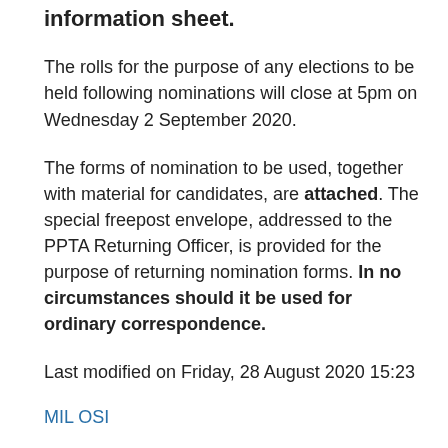information sheet.
The rolls for the purpose of any elections to be held following nominations will close at 5pm on Wednesday 2 September 2020.
The forms of nomination to be used, together with material for candidates, are attached. The special freepost envelope, addressed to the PPTA Returning Officer, is provided for the purpose of returning nomination forms. In no circumstances should it be used for ordinary correspondence.
Last modified on Friday, 28 August 2020 15:23
MIL OSI